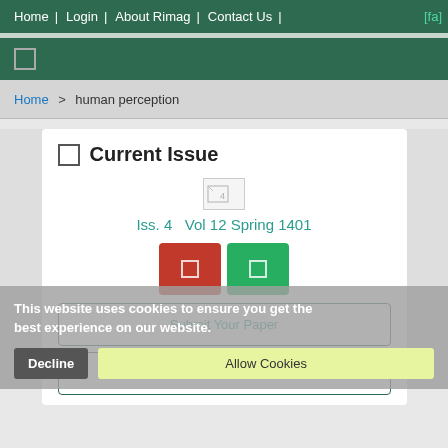Home | Login | About Rimag | Contact Us | [fa]
☐
Home > human perception
☐  Current Issue
Iss. 4   Vol 12 Spring 1401
This website uses cookies to ensure you get the best experience on our website.
Decline   Allow Cookies
Submit Your Paper
List of Journal Reviewers